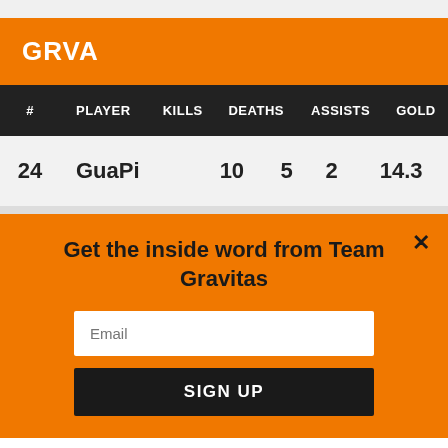GRVA
| # | PLAYER | KILLS | DEATHS | ASSISTS | GOLD |
| --- | --- | --- | --- | --- | --- |
| 24 | GuaPi | 10 | 5 | 2 | 14.3 |
Get the inside word from Team Gravitas
Email
SIGN UP